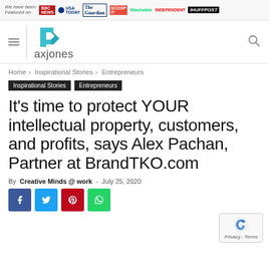We have been Featured on | BBC NEWS | USA TODAY | The Guardian | Scoop It | Mashable | INDEPENDENT | HUFFPOST
[Figure (logo): Paxjones website logo with teal geometric P shape and text 'axjones']
Home › Inspirational Stories › Entrepreneurs
Inspirational Stories   Entrepreneurs
It's time to protect YOUR intellectual property, customers, and profits, says Alex Pachan, Partner at BrandTKO.com
By Creative Minds @ work  -  July 25, 2020